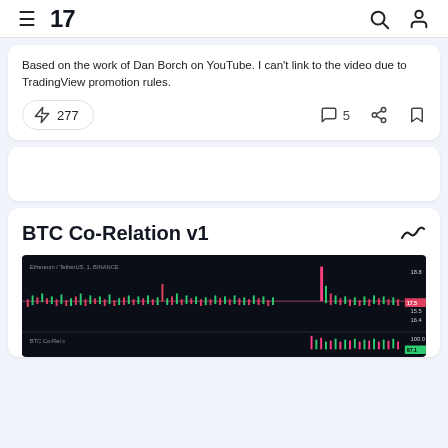TradingView
Based on the work of Dan Borch on YouTube. I can't link to the video due to TradingView promotion rules.
277  5
BTC Co-Relation v1
[Figure (screenshot): Dark candlestick chart showing Ethereum price data with pink and green candles, a horizontal pink line, and price labels on the right axis. A second chart panel is partially visible below.]